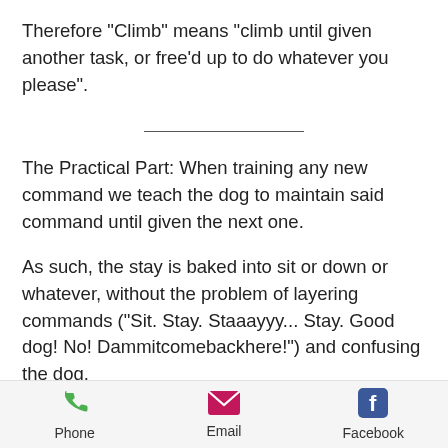Therefore "Climb" means "climb until given another task, or free'd up to do whatever you please".
The Practical Part: When training any new command we teach the dog to maintain said command until given the next one.
As such, the stay is baked into sit or down or whatever, without the problem of layering commands ("Sit. Stay. Staaayyy... Stay. Good dog! No! Dammitcomebackhere!") and confusing the dog.
Phone   Email   Facebook